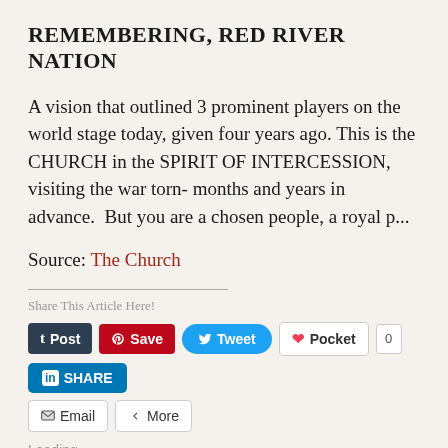REMEMBERING, RED RIVER NATION
A vision that outlined 3 prominent players on the world stage today, given four years ago. This is the CHURCH in the SPIRIT OF INTERCESSION, visiting the war torn- months and years in advance.  But you are a chosen people, a royal p...
Source: The Church
Share This Article Here!
Loading